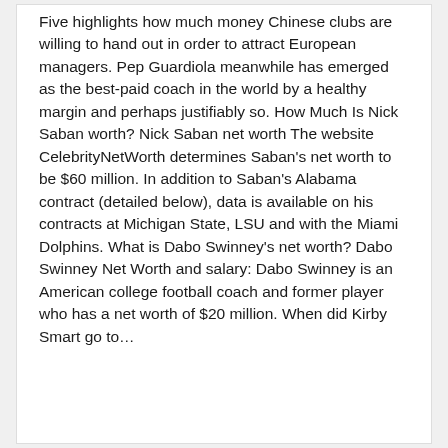Five highlights how much money Chinese clubs are willing to hand out in order to attract European managers. Pep Guardiola meanwhile has emerged as the best-paid coach in the world by a healthy margin and perhaps justifiably so. How Much Is Nick Saban worth? Nick Saban net worth The website CelebrityNetWorth determines Saban's net worth to be $60 million. In addition to Saban's Alabama contract (detailed below), data is available on his contracts at Michigan State, LSU and with the Miami Dolphins. What is Dabo Swinney's net worth? Dabo Swinney Net Worth and salary: Dabo Swinney is an American college football coach and former player who has a net worth of $20 million. When did Kirby Smart go to…